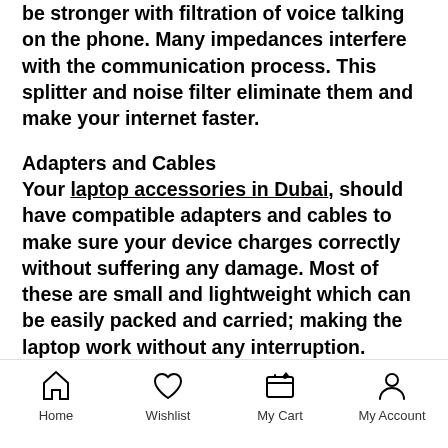be stronger with filtration of voice talking on the phone. Many impedances interfere with the communication process. This splitter and noise filter eliminate them and make your internet faster.
Adapters and Cables
Your laptop accessories in Dubai, should have compatible adapters and cables to make sure your device charges correctly without suffering any damage. Most of these are small and lightweight which can be easily packed and carried; making the laptop work without any interruption.
Portable, Versatile SSD
The crucial portable versatile SSD is
Home  Wishlist  My Cart  My Account